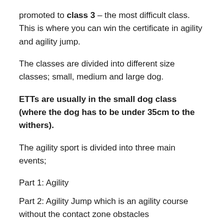promoted to class 3 – the most difficult class. This is where you can win the certificate in agility and agility jump.
The classes are divided into different size classes; small, medium and large dog.
ETTs are usually in the small dog class (where the dog has to be under 35cm to the withers).
The agility sport is divided into three main events;
Part 1: Agility
Part 2: Agility Jump which is an agility course without the contact zone obstacles
Part 3: Team – a team of three to four dogs and the final result is the combined results after each handler and dog have completed the course.
Obstacles